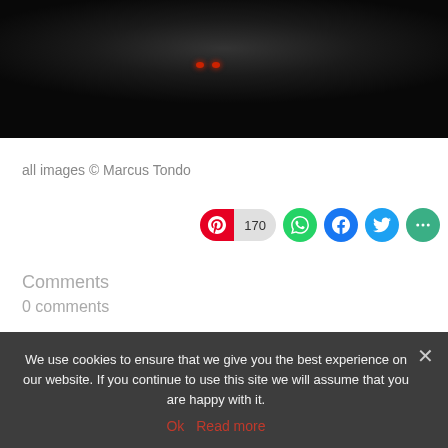[Figure (photo): Bottom portion of a vehicle (truck/robot) photographed from below in dark lighting, with two small red lights visible]
all images © Marcus Tondo
170
Comments
0 comments
0 Comments
Sort by Newest
We use cookies to ensure that we give you the best experience on our website. If you continue to use this site we will assume that you are happy with it.
Ok   Read more